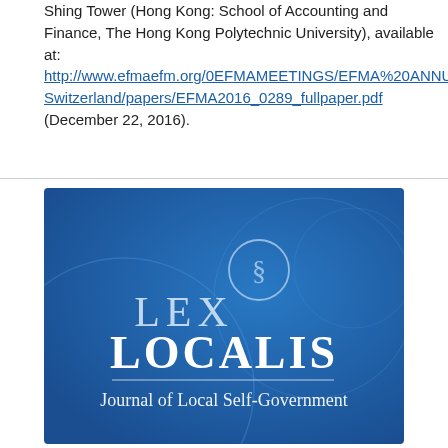Shing Tower (Hong Kong: School of Accounting and Finance, The Hong Kong Polytechnic University), available at: http://www.efmaefm.org/0EFMAMEETINGS/EFMA%20ANNU Switzerland/papers/EFMA2016_0289_fullpaper.pdf (December 22, 2016).
[Figure (logo): Lex Localis Journal of Local Self-Government logo on a blue background with a circle containing a section symbol (§)]